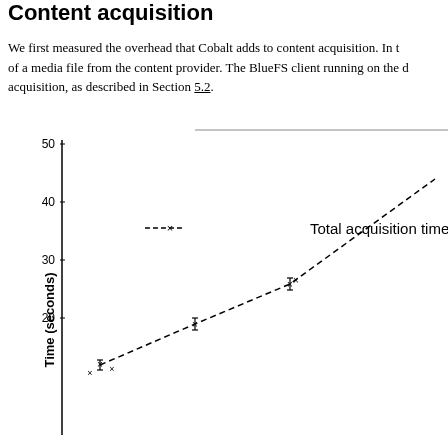Content acquisition
We first measured the overhead that Cobalt adds to content acquisition. In t... of a media file from the content provider. The BlueFS client running on the d... acquisition, as described in Section 5.2.
[Figure (line-chart): Content acquisition time]